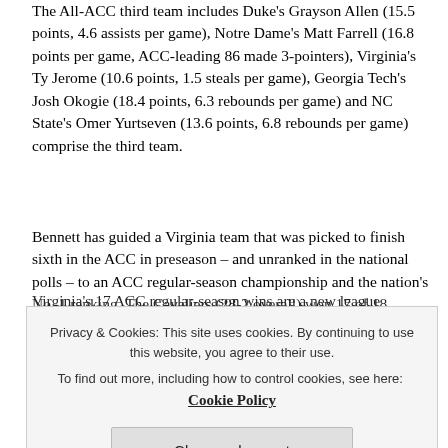The All-ACC third team includes Duke's Grayson Allen (15.5 points, 4.6 assists per game), Notre Dame's Matt Farrell (16.8 points per game, ACC-leading 86 made 3-pointers), Virginia's Ty Jerome (10.6 points, 1.5 steals per game), Georgia Tech's Josh Okogie (18.4 points, 6.3 rebounds per game) and NC State's Omer Yurtseven (13.6 points, 6.8 rebounds per game) comprise the third team.
Bennett has guided a Virginia team that was picked to finish sixth in the ACC in preseason – and unranked in the national polls – to an ACC regular-season championship and the nation's No. 1 ranking. The Cavaliers (28-2 overall) won 17 of 18 conference games and will enter this week's New York Life ACC Tournament as the No. 1 seed for the third time in five years.
Virginia's 17 ACC regular-season wins are a new league...
in 2014 and 2015.
Privacy & Cookies: This site uses cookies. By continuing to use this website, you agree to their use.
To find out more, including how to control cookies, see here: Cookie Policy
Close and accept